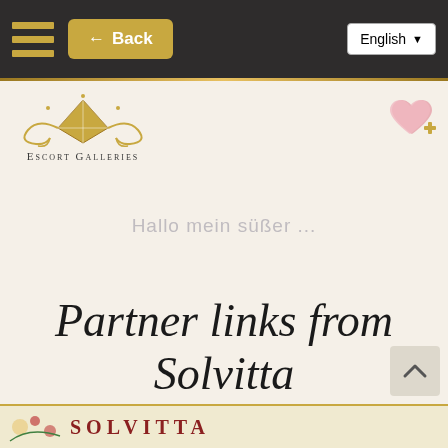← Back | English
[Figure (logo): Escort Galleries logo with decorative diamond and swirl motif, text reads ESCORT GALLERIES]
[Figure (illustration): Pink heart with gold plus sign icon (add to favorites)]
Hallo mein süßer ...
Partner links from Solvitta
[Figure (illustration): Bottom banner strip with Solvitta branding, decorative flowers and golden elements]